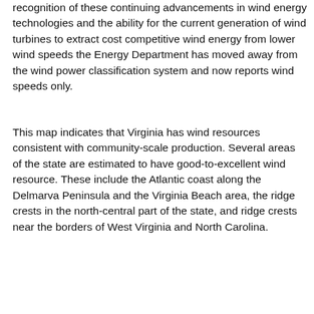recognition of these continuing advancements in wind energy technologies and the ability for the current generation of wind turbines to extract cost competitive wind energy from lower wind speeds the Energy Department has moved away from the wind power classification system and now reports wind speeds only.
This map indicates that Virginia has wind resources consistent with community-scale production. Several areas of the state are estimated to have good-to-excellent wind resource. These include the Atlantic coast along the Delmarva Peninsula and the Virginia Beach area, the ridge crests in the north-central part of the state, and ridge crests near the borders of West Virginia and North Carolina.